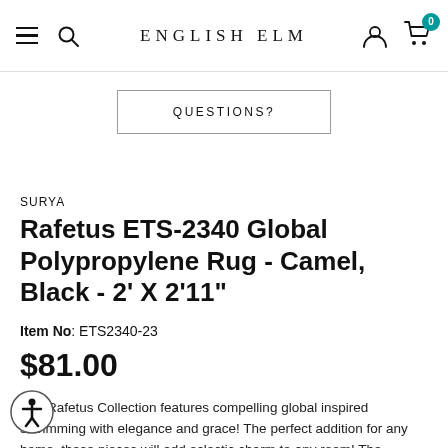ENGLISH ELM
QUESTIONS?
SURYA
Rafetus ETS-2340 Global Polypropylene Rug - Camel, Black - 2' X 2'11"
Item No: ETS2340-23
$81.00
The Rafetus Collection features compelling global inspired pieces brimming with elegance and grace! The perfect addition for any home, these pieces will add eclectic charm to any room! The meticulously woven construction of these pieces boasts